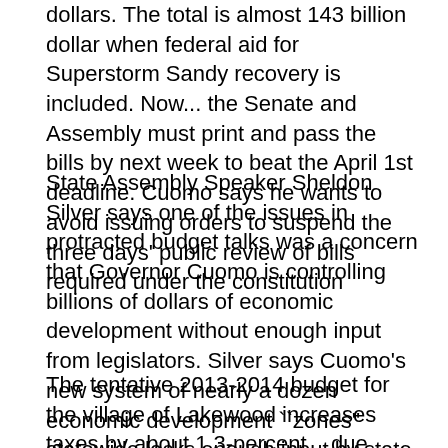dollars.  The total is almost 143 billion dollar when federal aid for Superstorm Sandy recovery is included.  Now... the Senate and Assembly must print and pass the bills by next week to beat the April 1st deadline.  Cuomo says he wants to avoid issuing orders to suspend the three days' public review of bills required under the constitution
State Assembly Speaker Sheldon Silver says one of the issues in protracted budget talks was a concern that Governor Cuomo is controlling billions of dollars of economic development without enough input from legislators.  Silver says Cuomo's new system of nearly a dozen economic development ``zones'' statewide lacks enough input by state legislators who know their districts' needs.
The tentative 2013-2014 budget for the village of Lakewood increases taxes by about 1.3-percent... due mainly to increased state pension costs.  Mayor David